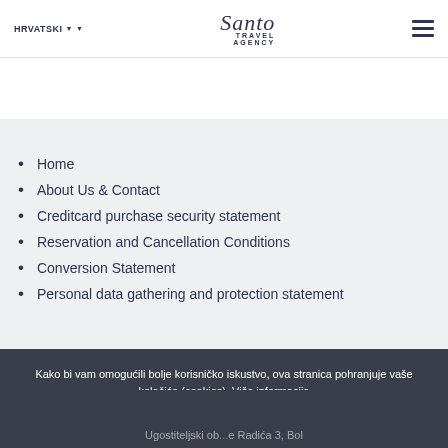HRVATSKI | Santo Travel Agency | menu
Home
About Us & Contact
Creditcard purchase security statement
Reservation and Cancellation Conditions
Conversion Statement
Personal data gathering and protection statement
Kako bi vam omogućili bolje korisničko iskustvo, ova stranica pohranjuje vaše kolačiće (cookies). Više informacija
Slažem se
Ugostiteljski ob... e Radića 3, Bol